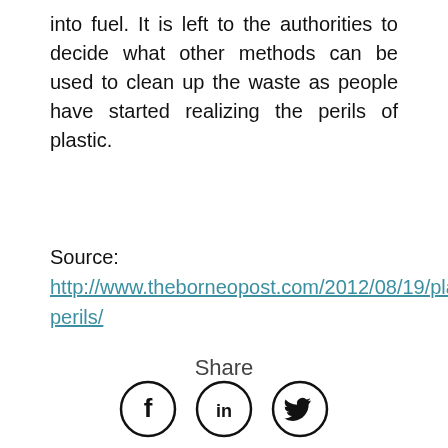into fuel. It is left to the authorities to decide what other methods can be used to clean up the waste as people have started realizing the perils of plastic.
Source:
http://www.theborneopost.com/2012/08/19/plastic-perils/
Share
[Figure (infographic): Three circular social media share icons: Facebook (f), LinkedIn (in), and Twitter (bird icon)]
Leave A Reply